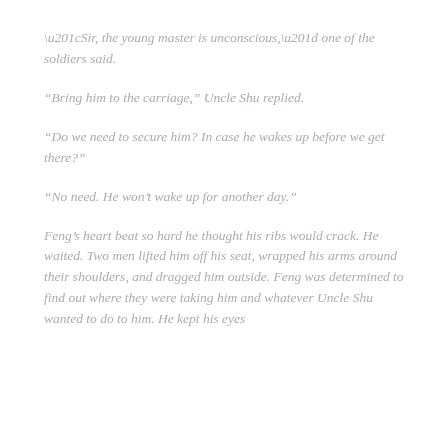“Sir, the young master is unconscious,” one of the soldiers said.
“Bring him to the carriage,” Uncle Shu replied.
“Do we need to secure him? In case he wakes up before we get there?”
“No need. He won’t wake up for another day.”
Feng’s heart beat so hard he thought his ribs would crack. He waited. Two men lifted him off his seat, wrapped his arms around their shoulders, and dragged him outside. Feng was determined to find out where they were taking him and whatever Uncle Shu wanted to do to him. He kept his eyes